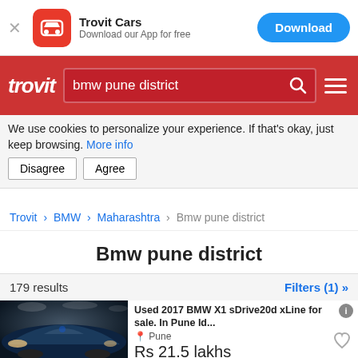[Figure (screenshot): App download banner for Trovit Cars with red icon, Download button in blue]
[Figure (screenshot): Trovit red header with logo and search bar showing 'bmw pune district']
We use cookies to personalize your experience. If that's okay, just keep browsing. More info
Disagree  Agree
Trovit > BMW > Maharashtra > Bmw pune district
Bmw pune district
179 results
Filters (1) »
[Figure (photo): Dark blue BMW X1 car photograph]
Used 2017 BMW X1 sDrive20d xLine for sale. In Pune Id...
Pune
Rs 21.5 lakhs
3 days ago
View car >